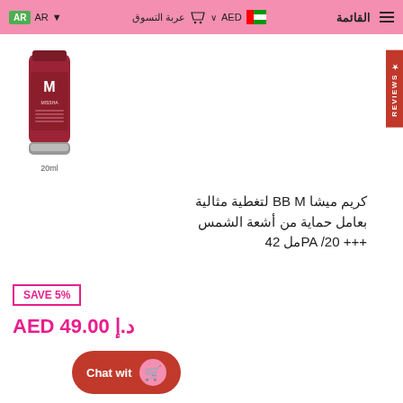القائمة | عربة التسوق AED | AR
[Figure (photo): MISSHA M BB cream product tube, red color, 20ml]
20ml
كريم ميشا BB M لتغطية مثالية بعامل حماية من أشعة الشمس +++ PA /20مل 42
SAVE 5%
AED د.إ 49.00
Chat wit